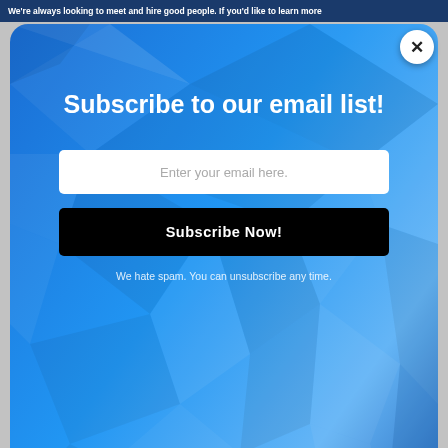We're always looking to meet and hire good people. If you'd like to learn more
[Figure (screenshot): Email subscription modal popup with blue geometric polygon background. Contains title 'Subscribe to our email list!', an email input field, a 'Subscribe Now!' button, and anti-spam text. A white circular close button with X is in the top right corner.]
right and another to its left. The fixture should be roughly 1 foot away from your wall but can be moved even farther back if bushes are nearby. The fixtures should be angled upward so that the hotspot inside the beam's center is evenly spread out towards the siding top.
Install Spotlights on Columns